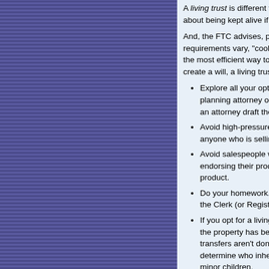A living trust is different from a living will. A living will is about being kept alive if you're terminally ill or...
And, the FTC advises, proceed with ca... requirements vary, "cookie-cutter" approaches... the most efficient way to handle your affai... create a will, a living trust, or any other kind o...
Explore all your options with an ... planning attorney or financial advisor... an attorney draft the trust.
Avoid high-pressure sales tactics a... anyone who is selling estate planning...
Avoid salespeople who give the im... endorsing their products. AARP do... product.
Do your homework. Get information a... the Clerk (or Register) of Wills.
If you opt for a living trust, make sure... the property has been transferred fr... transfers aren't done properly, the tru... determine who inherits your property... minor children.
If someone tries to sell you a living tr... Some states limit the sale of living trus...
Remember the Cooling Off Rule. If y... or somewhere other than the seller's... at a hotel seminar), the seller must gi... right to cancel the deal within three bu...
The Cooling Off Rule provides tha...